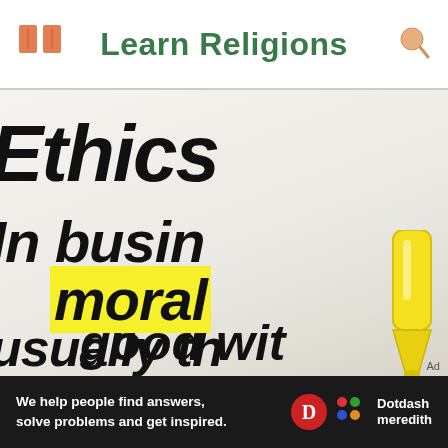Learn Religions
[Figure (photo): Close-up photo of a dictionary page showing words including 'Ethics', 'In busin[ess]', 'moral[ity]' (highlighted in yellow with a yellow highlighter marker), 'usually th[e]', and 'good wit[h]'. A yellow highlighter pen tip is visible highlighting the word 'morality'.]
Ad
We help people find answers, solve problems and get inspired.
[Figure (logo): Dotdash Meredith logo — red circle with white D, colorful dot pattern, and 'Dotdash meredith' text in white]